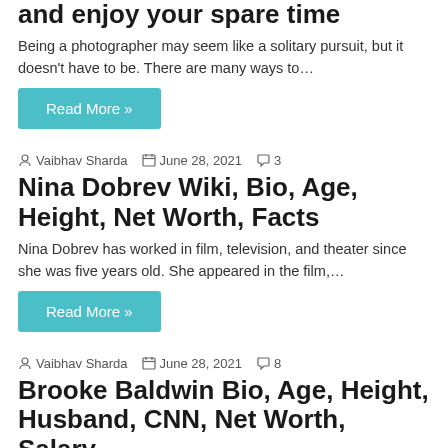and enjoy your spare time
Being a photographer may seem like a solitary pursuit, but it doesn't have to be. There are many ways to…
Read More »
Vaibhav Sharda  June 28, 2021  3
Nina Dobrev Wiki, Bio, Age, Height, Net Worth, Facts
Nina Dobrev has worked in film, television, and theater since she was five years old. She appeared in the film,…
Read More »
Vaibhav Sharda  June 28, 2021  8
Brooke Baldwin Bio, Age, Height, Husband, CNN, Net Worth, Salary.
Brooke Baldwin is an American news anchor, television host, and author. She currently hosts Inside Politics for CNN. She is…